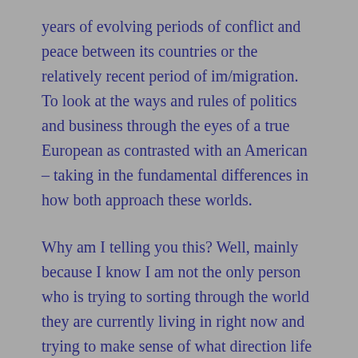years of evolving periods of conflict and peace between its countries or the relatively recent period of im/migration.  To look at the ways and rules of politics and business through the eyes of a true European as contrasted with an American – taking in the fundamental differences in how both approach these worlds.
Why am I telling you this?  Well, mainly because I know I am not the only person who is trying to sorting through the world they are currently living in right now and trying to make sense of what direction life is going.  I have had countless conversations over the past several months about not just the move to Paris, but generally the process and emotions I have gone through in trying to see the path ahead.  What has